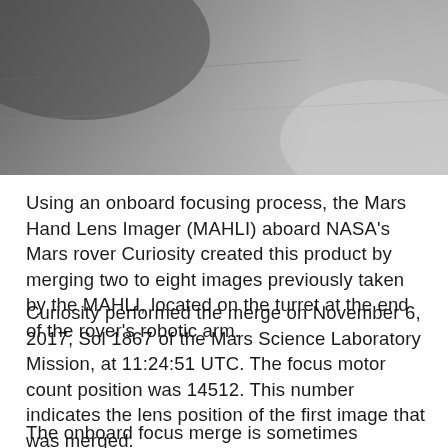[Figure (photo): Grayscale photo showing a surface, likely Martian terrain or rock, with gradient from dark top-left to lighter areas, partially cropped at top of page.]
Using an onboard focusing process, the Mars Hand Lens Imager (MAHLI) aboard NASA's Mars rover Curiosity created this product by merging two to eight images previously taken by the MAHLI, located on the turret at the end of the rover's robotic arm.
Curiosity performed the merge on November 6, 2017, Sol 1867 of the Mars Science Laboratory Mission, at 11:24:51 UTC. The focus motor count position was 14512. This number indicates the lens position of the first image that was merged.
The onboard focus merge is sometimes performed on images acquired the same sol as the merge, and sometimes uses pictures obtained on an earlier sol. Focus merging is a method to make a composite of images of the same target acquired at different focus...